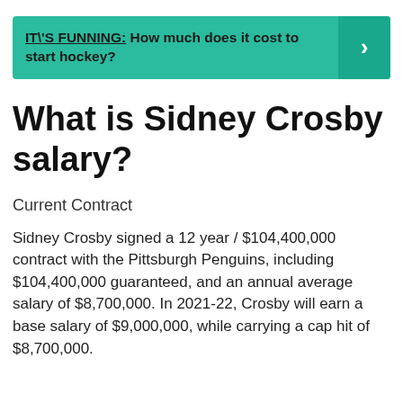[Figure (infographic): Teal banner with bold text: IT\'S FUNNING: How much does it cost to start hockey? with a right-pointing arrow button on the right side.]
What is Sidney Crosby salary?
Current Contract
Sidney Crosby signed a 12 year / $104,400,000 contract with the Pittsburgh Penguins, including $104,400,000 guaranteed, and an annual average salary of $8,700,000. In 2021-22, Crosby will earn a base salary of $9,000,000, while carrying a cap hit of $8,700,000.